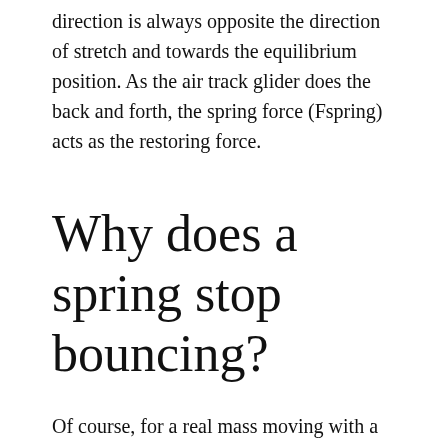direction is always opposite the direction of stretch and towards the equilibrium position. As the air track glider does the back and forth, the spring force (Fspring) acts as the restoring force.
Why does a spring stop bouncing?
Of course, for a real mass moving with a real spring, the motion will eventually come to a stop. This is because energy is slowly radiated by the system as heat. Over time this 'energy leak' will drain energy from the system, and the mass will